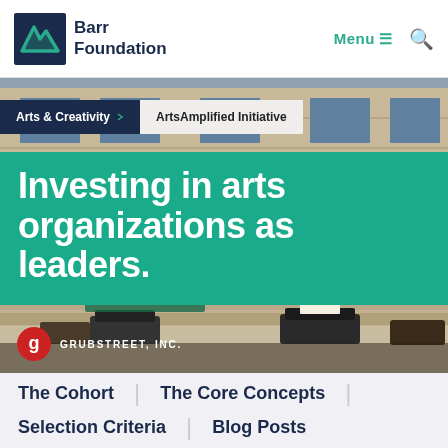Barr Foundation | Menu | Search
[Figure (photo): Outdoor scene with people standing on steps of a building, and vintage typewriters arranged on a ledge in the foreground. GrubStreet, Inc. logo visible.]
Arts & Creativity | ArtsAmplified Initiative
Investing in arts organizations as leaders.
GRUBSTREET, INC.
The Cohort
The Core Concepts
Selection Criteria
Blog Posts